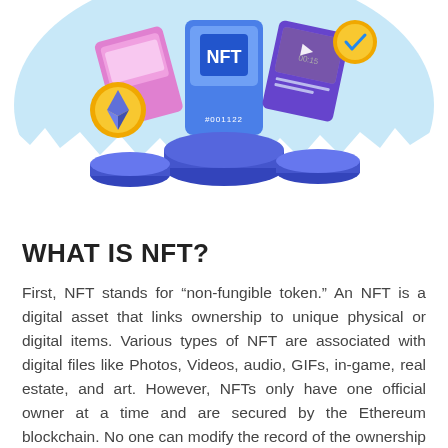[Figure (illustration): Colorful illustration of NFT concept: shows various digital assets including an Ethereum gold coin, NFT cards/tokens on blue hexagonal platforms, a checkmark badge, and a video thumbnail, arranged in a circular light-blue background.]
WHAT IS NFT?
First, NFT stands for “non-fungible token.” An NFT is a digital asset that links ownership to unique physical or digital items. Various types of NFT are associated with digital files like Photos, Videos, audio, GIFs, in-game, real estate, and art. However, NFTs only have one official owner at a time and are secured by the Ethereum blockchain. No one can modify the record of the ownership or copy/paste a new NFT